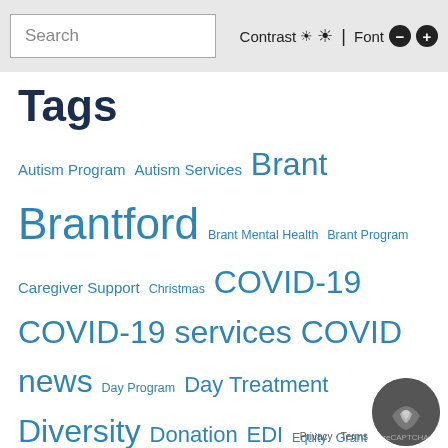Search | Contrast | Font
Tags
Autism Program Autism Services Brant Brantford Brant Mental Health Brant Program Caregiver Support Christmas COVID-19 COVID-19 services COVID news Day Program Day Treatment Diversity Donation EDI Equity Grant Halton Halton Autism Services Hamilton Hamilton Autism Hamilton Program Inclusion Learning Centre Lockdown Mental Health News OAP Ontario Autism Program Parenting PCMH Group Program Profile Resources Stay at Home Support Group Unity for Autism Virtual services Virtual Support Walk-In Clinic Woodview Learning WoodviewMHAS Woodview News